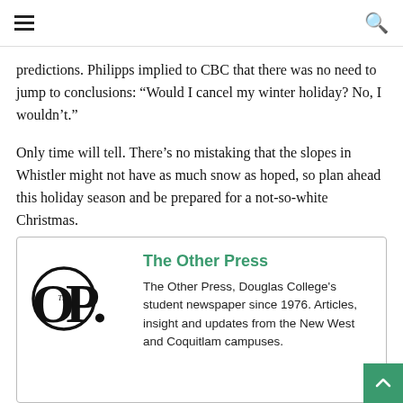≡ [hamburger menu] [search icon]
predictions. Philipps implied to CBC that there was no need to jump to conclusions: “Would I cancel my winter holiday? No, I wouldn’t.”
Only time will tell. There’s no mistaking that the slopes in Whistler might not have as much snow as hoped, so plan ahead this holiday season and be prepared for a not-so-white Christmas.
[Figure (logo): The Other Press logo: large 'OP.' text with 'The' in small italic inside a circle]
The Other Press
The Other Press, Douglas College's student newspaper since 1976. Articles, insight and updates from the New West and Coquitlam campuses.